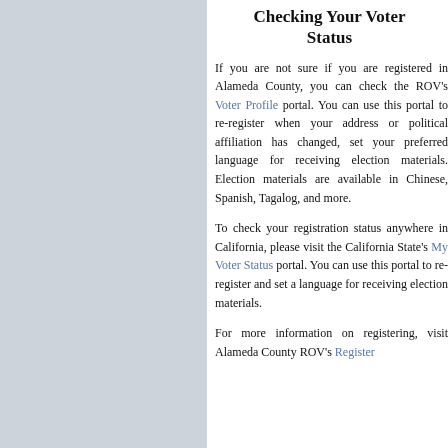Checking Your Voter Status
If you are not sure if you are registered in Alameda County, you can check the ROV's Voter Profile portal. You can use this portal to re-register when your address or political affiliation has changed, set your preferred language for receiving election materials. Election materials are available in Chinese, Spanish, Tagalog, and more.
To check your registration status anywhere in California, please visit the California State's My Voter Status portal. You can use this portal to re-register and set a language for receiving election materials.
For more information on registering, visit Alameda County ROV's Register...